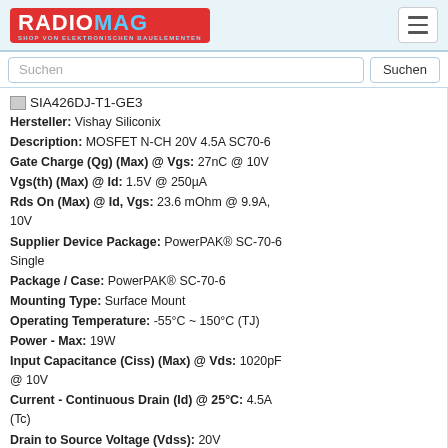RADIOMAG - SHOP VON ELEKTRONISCHEN BAUELEMENTEN
Suchen
SIA426DJ-T1-GE3
Hersteller: Vishay Siliconix
Description: MOSFET N-CH 20V 4.5A SC70-6
Gate Charge (Qg) (Max) @ Vgs: 27nC @ 10V
Vgs(th) (Max) @ Id: 1.5V @ 250µA
Rds On (Max) @ Id, Vgs: 23.6 mOhm @ 9.9A, 10V
Supplier Device Package: PowerPAK® SC-70-6 Single
Package / Case: PowerPAK® SC-70-6
Mounting Type: Surface Mount
Operating Temperature: -55°C ~ 150°C (TJ)
Power - Max: 19W
Input Capacitance (Ciss) (Max) @ Vds: 1020pF @ 10V
Current - Continuous Drain (Id) @ 25°C: 4.5A (Tc)
Drain to Source Voltage (Vdss): 20V
FET Type: MOSFET N-Channel, Metal Oxide
auf Bestellung 8006 Stücke
Lieferzeit 21-28 Tag (e)
auf Bestellung 14006 Stücke - Preis und Lieferfrist anzeigen